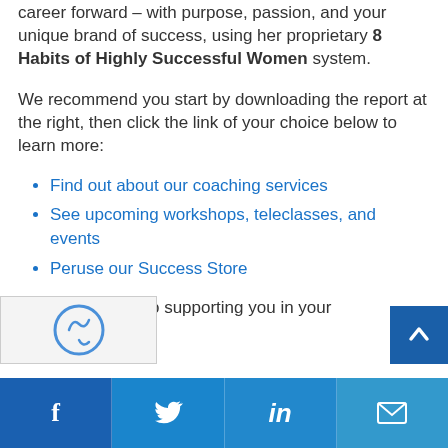career forward – with purpose, passion, and your unique brand of success, using her proprietary 8 Habits of Highly Successful Women system.
We recommend you start by downloading the report at the right, then click the link of your choice below to learn more:
Find out about our coaching services
See upcoming workshops, teleclasses, and events
Peruse our Success Store
We look forward to supporting you in your ss!
[Figure (other): reCAPTCHA verification widget and scroll-to-top button]
Social share bar with Facebook, Twitter, LinkedIn, and Email buttons